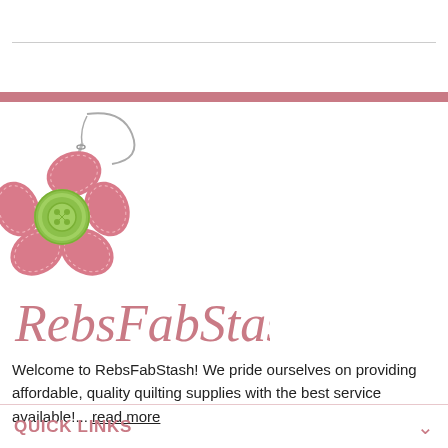[Figure (logo): RebsFabStash logo: a decorative pink flower with stitched petals and a green button center, with a sewing needle and thread above it]
RebsFabStash
Welcome to RebsFabStash! We pride ourselves on providing affordable, quality quilting supplies with the best service available!... read more
QUICK LINKS